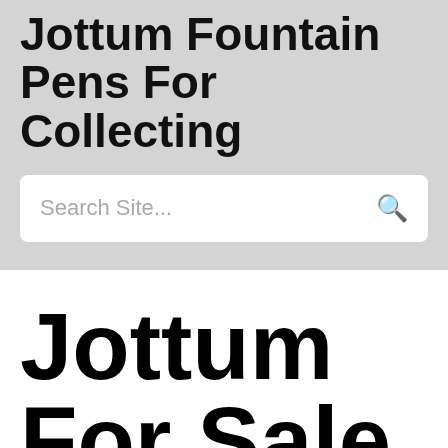Jottum Fountain Pens For Collecting
Search Site...
Jottum For Sale